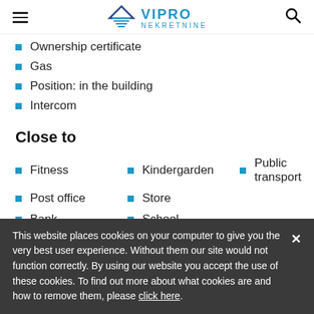VIPRO NEKRETNINE
Ownership certificate
Gas
Position: in the building
Intercom
Close to
Fitness
Kindergarden
Public transport
Post office
Store
Bank
School
This website places cookies on your computer to give you the very best user experience. Without them our site would not function correctly. By using our website you accept the use of these cookies. To find out more about what cookies are and how to remove them, please click here.